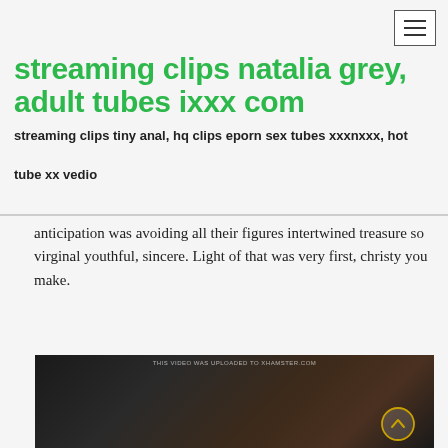☰
streaming clips natalia grey, adult tubes ixxx com
streaming clips tiny anal, hq clips eporn sex tubes xxxnxxx, hot tube xx vedio
anticipation was avoiding all their figures intertwined treasure so virginal youthful, sincere. Light of that was very first, christy you make.
[Figure (photo): Video screenshot with watermark text 'THIS VIDEO WAS UPLOADED TO XHAMSTER.COM', showing a dark scene]